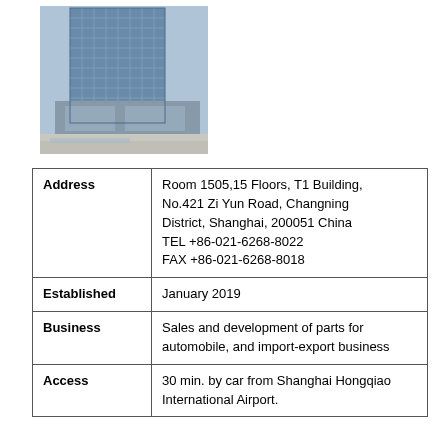[Figure (photo): Exterior photo of a modern high-rise office building (T1 Building) with glass facade and plaza area in Shanghai.]
| Field | Value |
| --- | --- |
| Address | Room 1505,15 Floors, T1 Building, No.421 Zi Yun Road, Changning District, Shanghai, 200051 China
TEL +86-021-6268-8022
FAX +86-021-6268-8018 |
| Established | January 2019 |
| Business | Sales and development of parts for automobile, and import-export business |
| Access | 30 min. by car from Shanghai Hongqiao International Airport. |